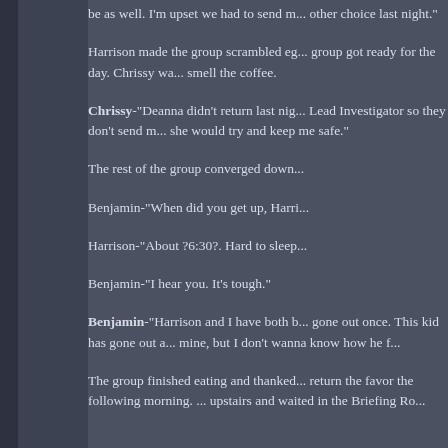be as well. I'm upset we had to send m... other choice last night."
Harrison made the group scrambled eg... group got ready for the day. Chrissy wa... smell the coffee.
Chrissy-"Deanna didn't return last nig... Lead Investigator so they don't send m... she would try and keep me safe."
The rest of the group converged down...
Benjamin-"When did you get up, Harri...
Harrison-"About ?6:30?. Hard to sleep...
Benjamin-"I hear you. It's tough."
Benjamin-"Harrison and I have both b... gone out once. This kid has gone out a... mine, but I don't wanna know how he f...
The group finished eating and thanked... return the favor the following morning. ... upstairs and waited in the Briefing Ro...